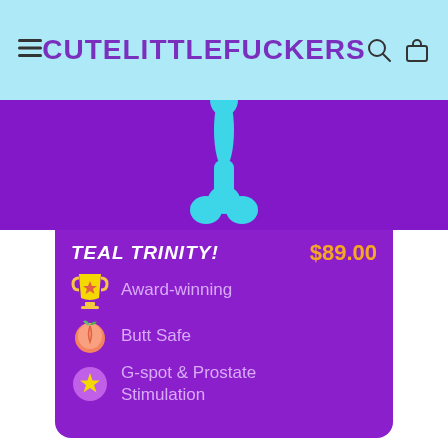Cute Little Fuckers
[Figure (photo): Teal silicone adult toy (Trinity) on purple background — partially visible, cropped at top]
TEAL TRINITY!
$89.00
Award-winning
Butt Safe
G-spot & Prostate Stimulation